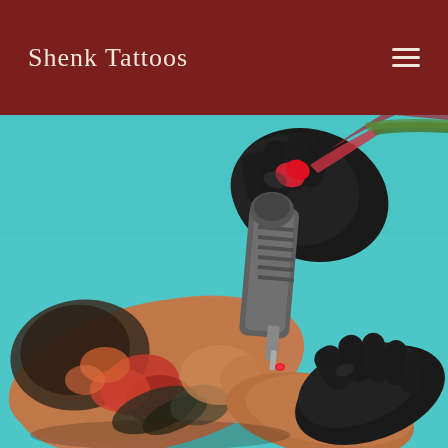Shenk Tattoos
[Figure (photo): Close-up photo of a tattoo artist wearing black gloves using a tattoo machine to apply a colorful tattoo on a person's arm. The arm features existing tattoos with red, orange and black ink depicting skulls and floral designs. The background is a bright teal/turquoise surface. The tattoo machine is metallic and the artist holds it firmly with both gloved hands.]